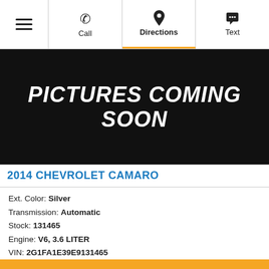Call | Directions | Text
[Figure (screenshot): Black banner with white bold italic text reading PICTURES COMING SOON]
2014 CHEVROLET CAMARO
Ext. Color: Silver
Transmission: Automatic
Stock: 131465
Engine: V6, 3.6 LITER
VIN: 2G1FA1E39E9131465
Mileage: 137,480 miles
PRICE    $15,995